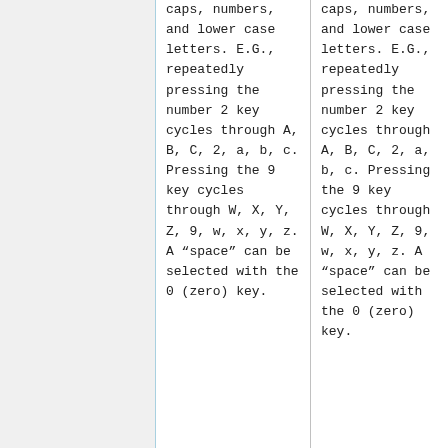caps, numbers, and lower case letters. E.G., repeatedly pressing the number 2 key cycles through A, B, C, 2, a, b, c. Pressing the 9 key cycles through W, X, Y, Z, 9, w, x, y, z. A "space" can be selected with the 0 (zero) key.
caps, numbers, and lower case letters. E.G., repeatedly pressing the number 2 key cycles through A, B, C, 2, a, b, c. Pressing the 9 key cycles through W, X, Y, Z, 9, w, x, y, z. A "space" can be selected with the 0 (zero) key.